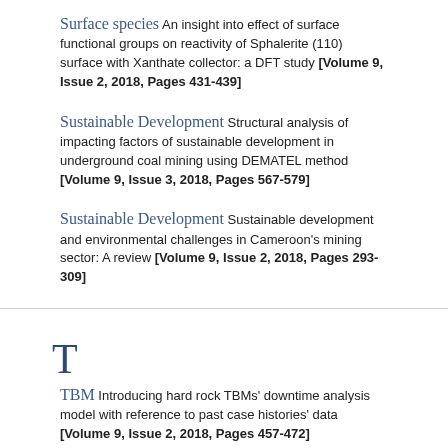Surface species An insight into effect of surface functional groups on reactivity of Sphalerite (110) surface with Xanthate collector: a DFT study [Volume 9, Issue 2, 2018, Pages 431-439]
Sustainable Development Structural analysis of impacting factors of sustainable development in underground coal mining using DEMATEL method [Volume 9, Issue 3, 2018, Pages 567-579]
Sustainable Development Sustainable development and environmental challenges in Cameroon's mining sector: A review [Volume 9, Issue 2, 2018, Pages 293-309]
TBM Introducing hard rock TBMs' downtime analysis model with reference to past case histories' data [Volume 9, Issue 2, 2018, Pages 457-472]